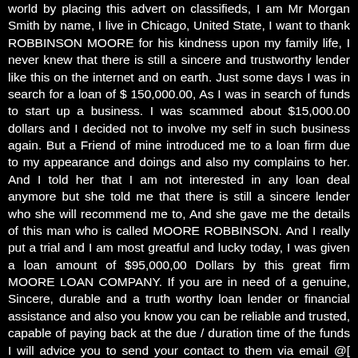world by placing this advert on classifieds, I am Mr Morgan Smith by name, I live in Chicago, United State, I want to thank ROBBINSON MOORE for his kindness upon my family life, I never knew that there is still a sincere and trustworthy lender like this on the internet and on earth. Just some days I was in search for a loan of $ 150,000.00, As I was in search of funds to start up a business. I was scammed about $15,000.00 dollars and I decided not to involve my self in such business again. But a Friend of mine introduced me to a loan firm due to my appearance and doings and also my complains to her. And I told her that I am not interested in any loan deal anymore but she told me that there is still a sincere lender who she will recommend me to, And she gave me the details of this man who is called MOORE ROBBINSON. And I really put a trial and I am most greatful and lucky today, I was given a loan amount of $95,000,00 Dollars by this great firm MOORE LOAN COMPANY. If you are in need of a genuine, Sincere, durable and a truth worthy loan lender or financial assistance and also you know you can be reliable and trusted, capable of paying back at the due / duration time of the funds I will advice you to send your contact to them via email @[ mooreloancompany@yahoo.com] OR Text